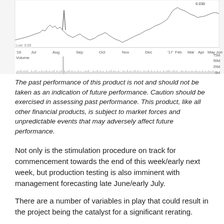[Figure (continuous-plot): Stock price and volume chart showing price movements from July 2016 to June 2017, with a candlestick/line overlay chart on top and a volume bar chart below. Price low marked at 0.00, high at 0.030. Volume axis shows 0M, 25M, 50M, 75M. X-axis labels: '16, Jul, Aug, Sep, Oct, Nov, Dec, '17, Feb, Mar, Apr, May, Jun.]
The past performance of this product is not and should not be taken as an indication of future performance. Caution should be exercised in assessing past performance. This product, like all other financial products, is subject to market forces and unpredictable events that may adversely affect future performance.
Not only is the stimulation procedure on track for commencement towards the end of this week/early next week, but production testing is also imminent with management forecasting late June/early July.
There are a number of variables in play that could result in the project being the catalyst for a significant rerating.
There are a number of items on the agenda that...